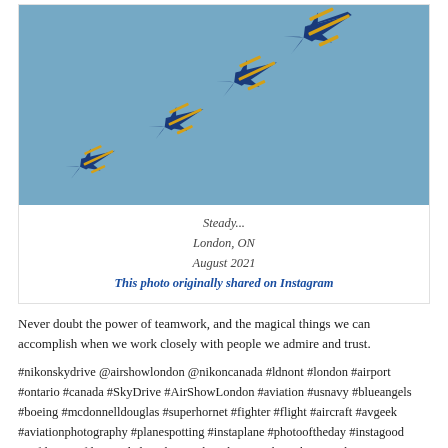[Figure (photo): Four Blue Angels F/A-18 Hornet jets in close formation flying against a blue sky, viewed from below at an angle. Jets are blue with yellow accents.]
Steady...
London, ON
August 2021
This photo originally shared on Instagram
Never doubt the power of teamwork, and the magical things we can accomplish when we work closely with people we admire and trust.
#nikonskydrive @airshowlondon @nikoncanada #ldnont #london #airport #ontario #canada #SkyDrive #AirShowLondon #aviation #usnavy #blueangels #boeing #mcdonnelldouglas #superhornet #fighter #flight #aircraft #avgeek #aviationphotography #planespotting #instaplane #photooftheday #instagood #nofilter #nofilterneeded #Nikon #nikonphotography #photography #lifeinthemargins
Posted by carmilevy at 12/12/2021 07:58:00 AM  No comments: